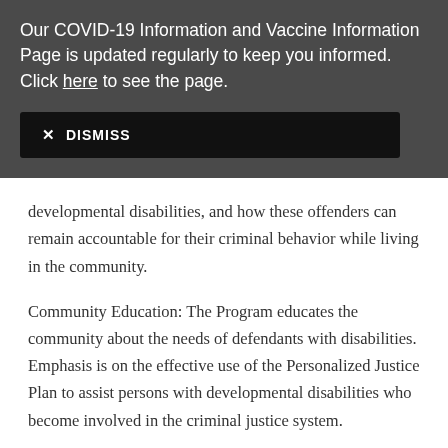Our COVID-19 Information and Vaccine Information Page is updated regularly to keep you informed. Click here to see the page.
✕ DISMISS
developmental disabilities, and how these offenders can remain accountable for their criminal behavior while living in the community.
Community Education: The Program educates the community about the needs of defendants with disabilities. Emphasis is on the effective use of the Personalized Justice Plan to assist persons with developmental disabilities who become involved in the criminal justice system.